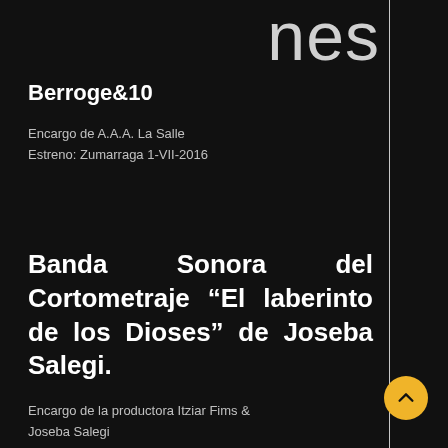nes
Berroge&10
Encargo de A.A.A. La Salle
Estreno: Zumarraga 1-VII-2016
Banda Sonora del Cortometraje “El laberinto de los Dioses” de Joseba Salegi.
Encargo de la productora Itziar Fims & Joseba Salegi